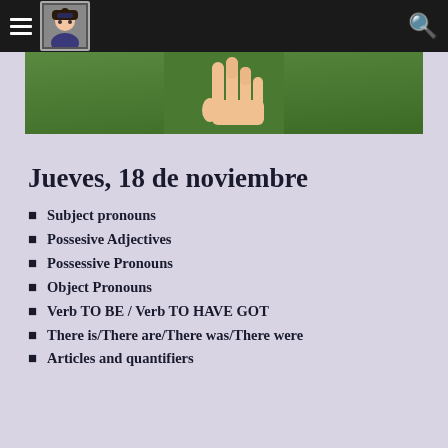Navigation bar with hamburger menu, avatar logo, and search icon
[Figure (photo): Hero image showing a hand raised against a green chalkboard background]
Jueves, 18 de noviembre
Subject pronouns
Possesive Adjectives
Possessive Pronouns
Object Pronouns
Verb TO BE / Verb TO HAVE GOT
There is/There are/There was/There were
Articles and quantifiers